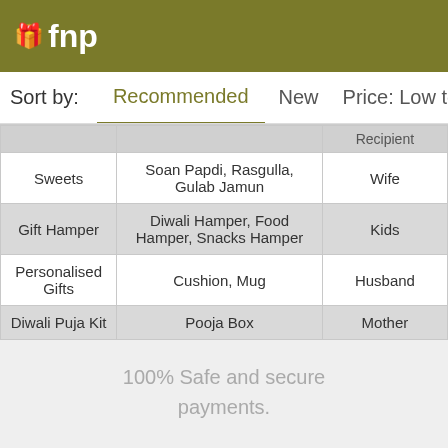fnp
Sort by:  Recommended  New  Price: Low to High  P...
|  | Recipient |
| --- | --- |
| Sweets | Soan Papdi, Rasgulla, Gulab Jamun | Wife |
| Gift Hamper | Diwali Hamper, Food Hamper, Snacks Hamper | Kids |
| Personalised Gifts | Cushion, Mug | Husband |
| Diwali Puja Kit | Pooja Box | Mother |
100% Safe and secure payments.
Follow us on: